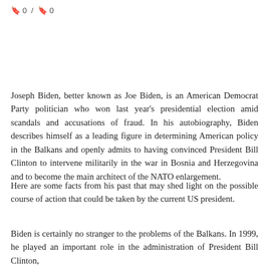🔖 0 / 🔖 0
Joseph Biden, better known as Joe Biden, is an American Democrat Party politician who won last year's presidential election amid scandals and accusations of fraud. In his autobiography, Biden describes himself as a leading figure in determining American policy in the Balkans and openly admits to having convinced President Bill Clinton to intervene militarily in the war in Bosnia and Herzegovina and to become the main architect of the NATO enlargement.
Here are some facts from his past that may shed light on the possible course of action that could be taken by the current US president.
Biden is certainly no stranger to the problems of the Balkans. In 1999, he played an important role in the administration of President Bill Clinton,